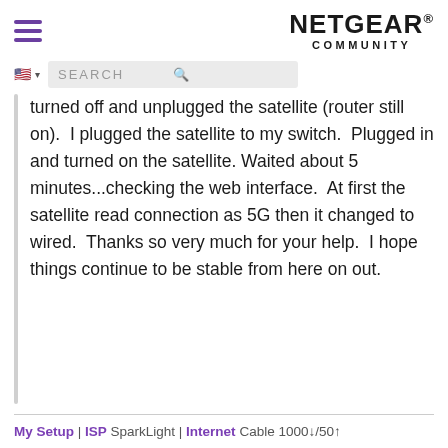NETGEAR® COMMUNITY
turned off and unplugged the satellite (router still on).  I plugged the satellite to my switch.  Plugged in and turned on the satellite. Waited about 5 minutes...checking the web interface.  At first the satellite read connection as 5G then it changed to wired.  Thanks so very much for your help.  I hope things continue to be stable from here on out.
My Setup | ISP SparkLight | Internet Cable 1000↓/50↑ CM1200 Modem | Wifi Router Orbi RBK752 (Router